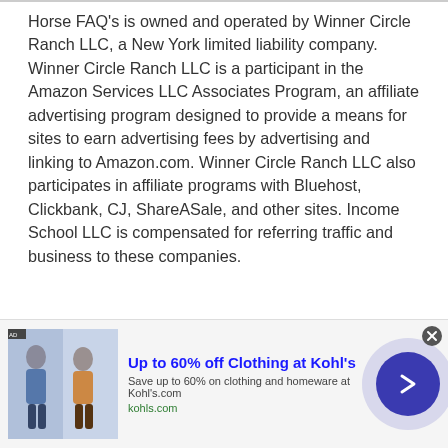Horse FAQ's is owned and operated by Winner Circle Ranch LLC, a New York limited liability company. Winner Circle Ranch LLC is a participant in the Amazon Services LLC Associates Program, an affiliate advertising program designed to provide a means for sites to earn advertising fees by advertising and linking to Amazon.com. Winner Circle Ranch LLC also participates in affiliate programs with Bluehost, Clickbank, CJ, ShareASale, and other sites. Income School LLC is compensated for referring traffic and business to these companies.
[Figure (infographic): Advertisement banner: Up to 60% off Clothing at Kohl's. Save up to 60% on clothing and homeware at Kohl's.com. kohls.com. Shows image of people in clothing, a forward arrow button, and a close button.]